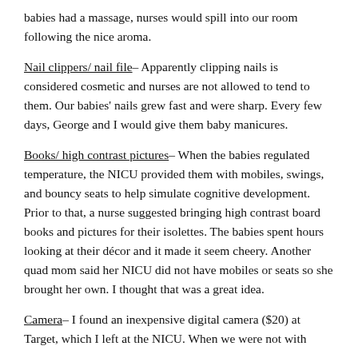babies had a massage, nurses would spill into our room following the nice aroma.
Nail clippers/ nail file– Apparently clipping nails is considered cosmetic and nurses are not allowed to tend to them. Our babies' nails grew fast and were sharp. Every few days, George and I would give them baby manicures.
Books/ high contrast pictures– When the babies regulated temperature, the NICU provided them with mobiles, swings, and bouncy seats to help simulate cognitive development. Prior to that, a nurse suggested bringing high contrast board books and pictures for their isolettes. The babies spent hours looking at their décor and it made it seem cheery. Another quad mom said her NICU did not have mobiles or seats so she brought her own. I thought that was a great idea.
Camera– I found an inexpensive digital camera ($20) at Target, which I left at the NICU. When we were not with the babies, nurses would take pictures of them.